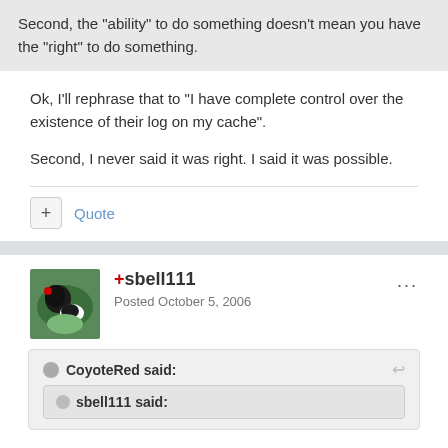Second, the "ability" to do something doesn't mean you have the "right" to do something.
Ok, I'll rephrase that to "I have complete control over the existence of their log on my cache".
Second, I never said it was right. I said it was possible.
+ Quote
+sbell111
Posted October 5, 2006
CoyoteRed said:
sbell111 said: